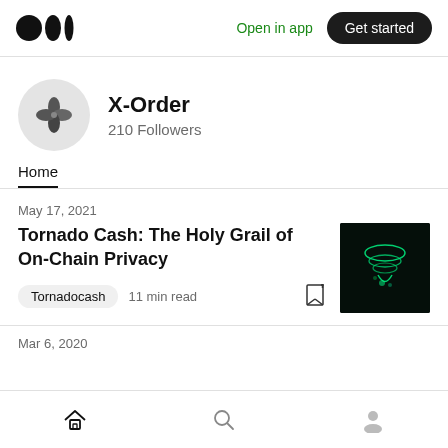Medium logo | Open in app | Get started
[Figure (logo): X-Order publication avatar: pinwheel/flower icon on light gray circle]
X-Order
210 Followers
Home
May 17, 2021
Tornado Cash: The Holy Grail of On-Chain Privacy
[Figure (illustration): Dark background thumbnail with glowing green tornado cash logo/symbol]
Tornadocash  11 min read
Mar 6, 2020
Home | Search | Profile